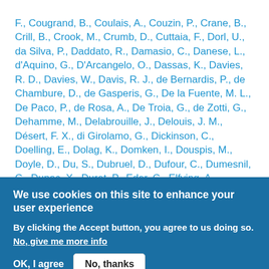F., Cougrand, B., Coulais, A., Couzin, P., Crane, B., Crill, B., Crook, M., Crumb, D., Cuttaia, F., Dorl, U., da Silva, P., Daddato, R., Damasio, C., Danese, L., d'Aquino, G., D'Arcangelo, O., Dassas, K., Davies, R. D., Davies, W., Davis, R. J., de Bernardis, P., de Chambure, D., de Gasperis, G., De la Fuente, M. L., De Paco, P., de Rosa, A., De Troia, G., de Zotti, G., Dehamme, M., Delabrouille, J., Delouis, J. M., Désert, F. X., di Girolamo, G., Dickinson, C., Doelling, E., Dolag, K., Domken, I., Douspis, M., Doyle, D., Du, S., Dubruel, D., Dufour, C., Dumesnil, C., Dupac, X., Duret, P., Eder, C., Elfving, A., Ensslin, T. A., Eng, P., English, K.,
We use cookies on this site to enhance your user experience
By clicking the Accept button, you agree to us doing so.
No, give me more info
OK, I agree   No, thanks